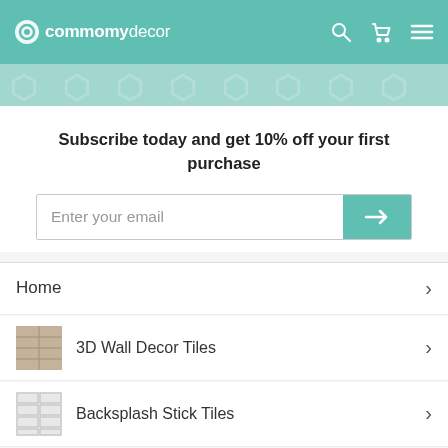commomydecor
Subscribe today and get 10% off your first purchase
Enter your email
Home
3D Wall Decor Tiles
Backsplash Stick Tiles
le Stick Wall Tiles
USD